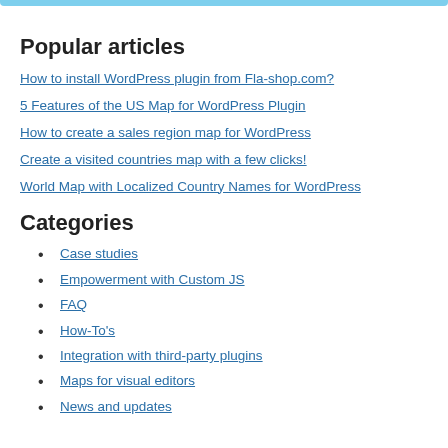Popular articles
How to install WordPress plugin from Fla-shop.com?
5 Features of the US Map for WordPress Plugin
How to create a sales region map for WordPress
Create a visited countries map with a few clicks!
World Map with Localized Country Names for WordPress
Categories
Case studies
Empowerment with Custom JS
FAQ
How-To's
Integration with third-party plugins
Maps for visual editors
News and updates